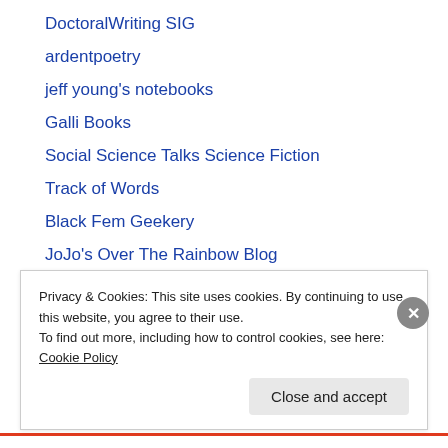DoctoralWriting SIG
ardentpoetry
jeff young's notebooks
Galli Books
Social Science Talks Science Fiction
Track of Words
Black Fem Geekery
JoJo's Over The Rainbow Blog
ED MCDONALD
The Chrishanger
Privacy & Cookies: This site uses cookies. By continuing to use this website, you agree to their use.
To find out more, including how to control cookies, see here: Cookie Policy
Close and accept